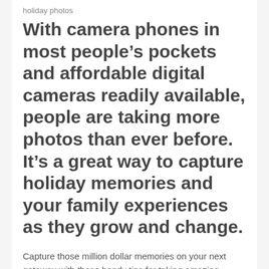holiday photos
With camera phones in most people’s pockets and affordable digital cameras readily available, people are taking more photos than ever before. It’s a great way to capture holiday memories and your family experiences as they grow and change.
Capture those million dollar memories on your next getaway with these handy tips for taking amazing holiday photos.
Stock up